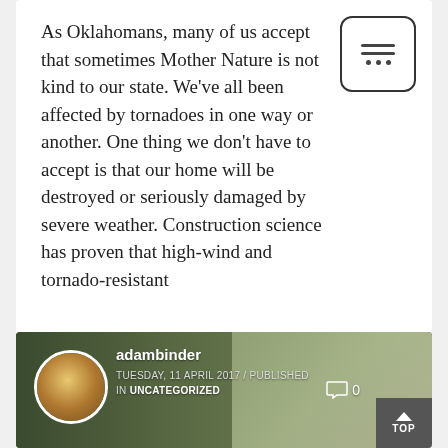As Oklahomans, many of us accept that sometimes Mother Nature is not kind to our state. We've all been affected by tornadoes in one way or another. One thing we don't have to accept is that our home will be destroyed or seriously damaged by severe weather. Construction science has proven that high-wind and tornado-resistant
[Figure (screenshot): Blog post card showing author avatar (adambinder), publish date TUESDAY, 11 APRIL 2017 / PUBLISHED IN UNCATEGORIZED, comment count 0, and a TOP button. Background shows a storm-damaged scene with a car.]